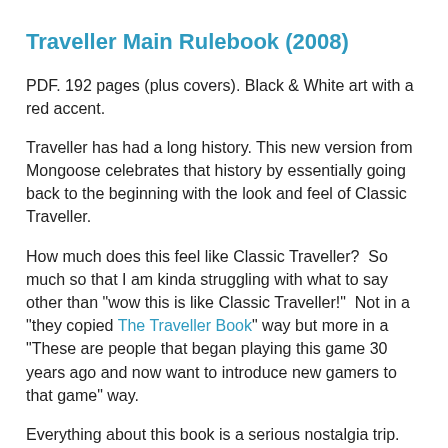Traveller Main Rulebook (2008)
PDF. 192 pages (plus covers). Black & White art with a red accent.
Traveller has had a long history. This new version from Mongoose celebrates that history by essentially going back to the beginning with the look and feel of Classic Traveller.
How much does this feel like Classic Traveller?  So much so that I am kinda struggling with what to say other than "wow this is like Classic Traveller!"  Not in a "they copied The Traveller Book" way but more in a "These are people that began playing this game 30 years ago and now want to introduce new gamers to that game" way.
Everything about this book is a serious nostalgia trip.  And given that I have been spending all this time with all versions of Traveller, a serious case of déjà vu.
Introduction
On introduction to the Traveller game. The...